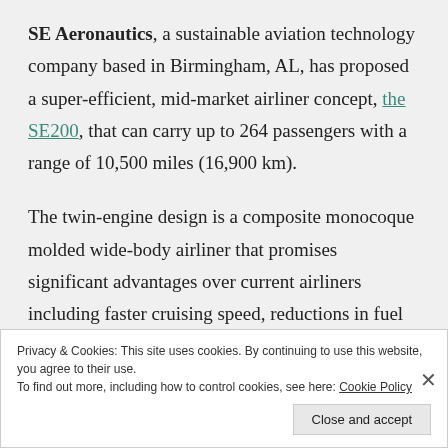SE Aeronautics, a sustainable aviation technology company based in Birmingham, AL, has proposed a super-efficient, mid-market airliner concept, the SE200, that can carry up to 264 passengers with a range of 10,500 miles (16,900 km).
The twin-engine design is a composite monocoque molded wide-body airliner that promises significant advantages over current airliners including faster cruising speed, reductions in fuel consumption of 70% and CO2 emissions of 80%, and the ability to operate from airports with short runways.
Privacy & Cookies: This site uses cookies. By continuing to use this website, you agree to their use. To find out more, including how to control cookies, see here: Cookie Policy